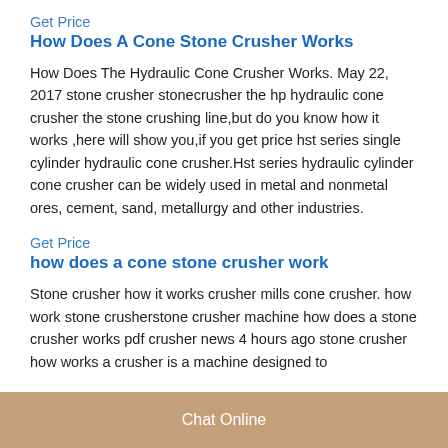Get Price
How Does A Cone Stone Crusher Works
How Does The Hydraulic Cone Crusher Works. May 22, 2017 stone crusher stonecrusher the hp hydraulic cone crusher the stone crushing line,but do you know how it works ,here will show you,if you get price hst series single cylinder hydraulic cone crusher.Hst series hydraulic cylinder cone crusher can be widely used in metal and nonmetal ores, cement, sand, metallurgy and other industries.
Get Price
how does a cone stone crusher work
Stone crusher how it works crusher mills cone crusher. how work stone crusherstone crusher machine how does a stone crusher works pdf crusher news 4 hours ago stone crusher how works a crusher is a machine designed to
Chat Online